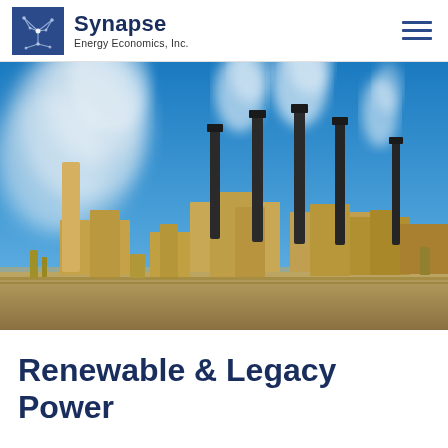Synapse Energy Economics, Inc.
[Figure (photo): Industrial power plant with multiple tall smokestacks emitting white steam/smoke against a clear blue sky, with industrial buildings and equipment in the foreground on arid land.]
Renewable & Legacy Power